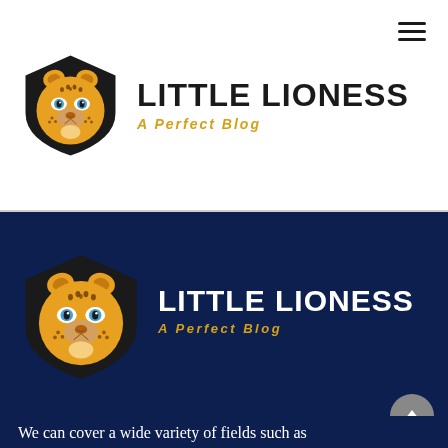[Figure (logo): Little Lioness blog logo - cheetah face in black shield with golden/yellow fur and blue eyes, top header version]
LITTLE LIONESS
A Perfect Blog
[Figure (logo): Little Lioness blog logo - cheetah face in black shield with golden/yellow fur and blue eyes, dark navy background version]
LITTLE LIONESS
A Perfect Blog
We can cover a wide variety of fields such as